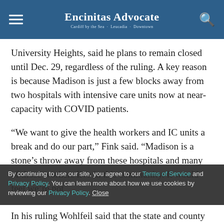Encinitas Advocate — Cardiff by the Sea · Leucadia · Downtown
University Heights, said he plans to remain closed until Dec. 29, regardless of the ruling. A key reason is because Madison is just a few blocks away from two hospitals with intensive care units now at near-capacity with COVID patients.
“We want to give the health workers and IC units a break and do our part,” Fink said. “Madison is a stone’s throw away from these hospitals and many of those workers live in this community. It would feel we’re not
By continuing to use our site, you agree to our Terms of Service and Privacy Policy. You can learn more about how we use cookies by reviewing our Privacy Policy. Close
In his ruling Wohlfeil said that the state and county had